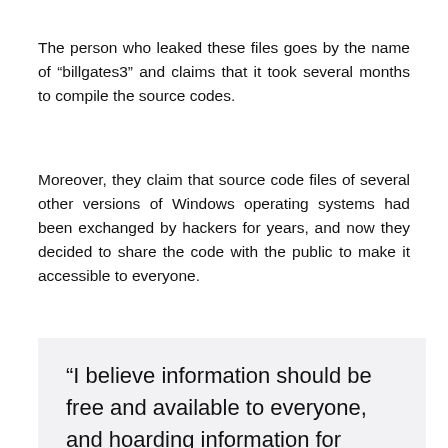The person who leaked these files goes by the name of “billgates3” and claims that it took several months to compile the source codes.
Moreover, they claim that source code files of several other versions of Windows operating systems had been exchanged by hackers for years, and now they decided to share the code with the public to make it accessible to everyone.
“I believe information should be free and available to everyone, and hoarding information for oneself and keeping it secret is an evil act in my opinion,” stated “billgates3.”